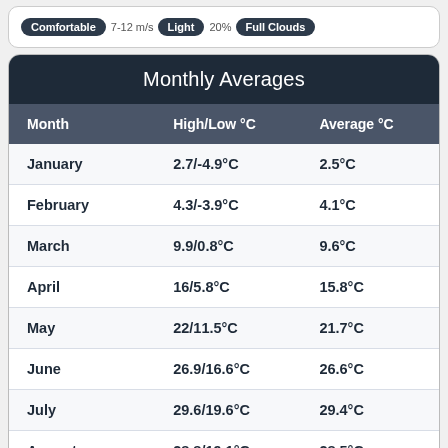Comfortable | 7-12 m/s Light | 20% Full Clouds
Monthly Averages
| Month | High/Low °C | Average °C |
| --- | --- | --- |
| January | 2.7/-4.9°C | 2.5°C |
| February | 4.3/-3.9°C | 4.1°C |
| March | 9.9/0.8°C | 9.6°C |
| April | 16/5.8°C | 15.8°C |
| May | 22/11.5°C | 21.7°C |
| June | 26.9/16.6°C | 26.6°C |
| July | 29.6/19.6°C | 29.4°C |
| August | 28.8/19.1°C | 28.5°C |